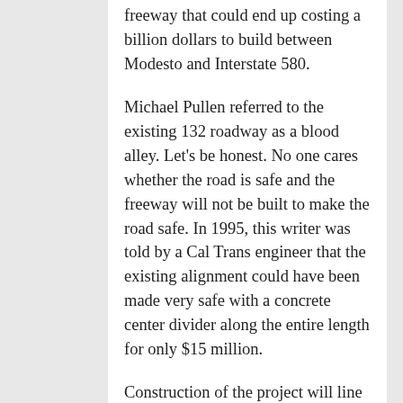freeway that could end up costing a billion dollars to build between Modesto and Interstate 580.
Michael Pullen referred to the existing 132 roadway as a blood alley. Let's be honest. No one cares whether the road is safe and the freeway will not be built to make the road safe. In 1995, this writer was told by a Cal Trans engineer that the existing alignment could have been made very safe with a concrete center divider along the entire length for only $15 million.
Construction of the project will line the pockets of road builders and encourage urban sprawl. It will make it easier to sell homes to Bay Area commuters. The project is also being pushed by trucking companies that think the project will facilitate the movement of goods. The speed limit on most of Route 132 is